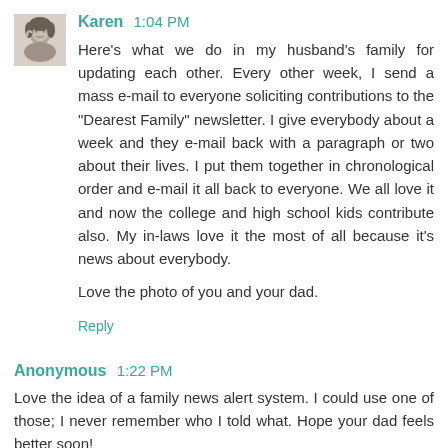[Figure (photo): Small circular/square avatar photo of a woman (Karen), black and white vintage style]
Karen 1:04 PM

Here's what we do in my husband's family for updating each other. Every other week, I send a mass e-mail to everyone soliciting contributions to the "Dearest Family" newsletter. I give everybody about a week and they e-mail back with a paragraph or two about their lives. I put them together in chronological order and e-mail it all back to everyone. We all love it and now the college and high school kids contribute also. My in-laws love it the most of all because it's news about everybody.

Love the photo of you and your dad.
Reply
Anonymous 1:22 PM

Love the idea of a family news alert system. I could use one of those; I never remember who I told what. Hope your dad feels better soon!
Reply